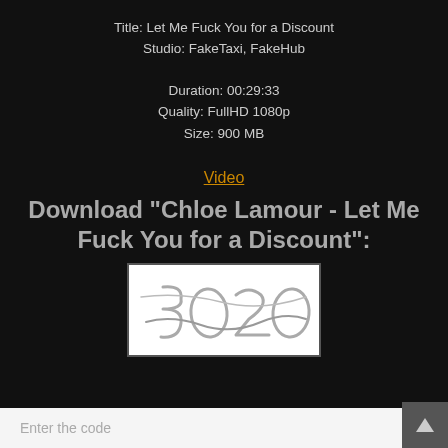Title: Let Me Fuck You for a Discount
Studio: FakeTaxi, FakeHub
Duration: 00:29:33
Quality: FullHD 1080p
Size: 900 MB
Video
Download "Chloe Lamour - Let Me Fuck You for a Discount":
[Figure (other): CAPTCHA image showing distorted numbers 3020]
Enter the code